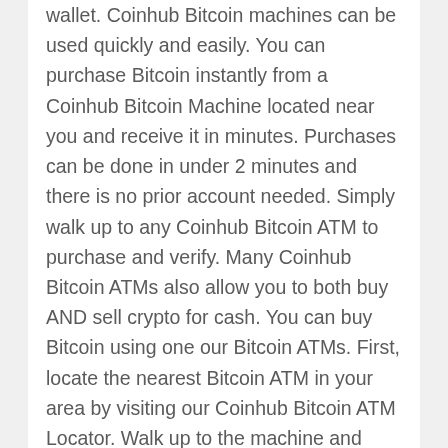wallet. Coinhub Bitcoin machines can be used quickly and easily. You can purchase Bitcoin instantly from a Coinhub Bitcoin Machine located near you and receive it in minutes. Purchases can be done in under 2 minutes and there is no prior account needed. Simply walk up to any Coinhub Bitcoin ATM to purchase and verify. Many Coinhub Bitcoin ATMs also allow you to both buy AND sell crypto for cash. You can buy Bitcoin using one our Bitcoin ATMs. First, locate the nearest Bitcoin ATM in your area by visiting our Coinhub Bitcoin ATM Locator. Walk up to the machine and enter your phone number. You will then verify your phone with a code and scan your bitcoin wallet. Enter bills one bill at a time for the amount you would like to purchase and confirm the bitcoin atm prior to purchase. The bitcoin is instantly sent to your wallet. The daily buying limit is $25,000. We have Bitcoin Machines conveniently placed throughout the country